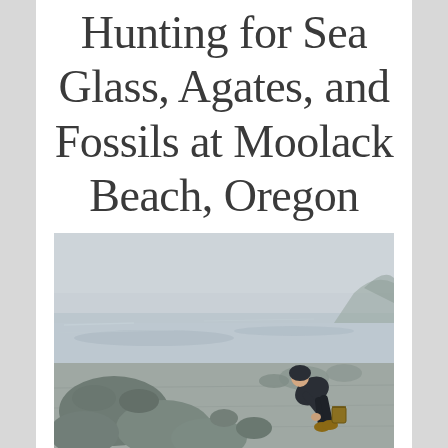Hunting for Sea Glass, Agates, and Fossils at Moolack Beach, Oregon
[Figure (photo): A person bent over picking up rocks or sea glass on a rocky Oregon beach in foggy conditions, wearing dark clothing and rubber boots, with large rounded boulders and shallow water visible.]